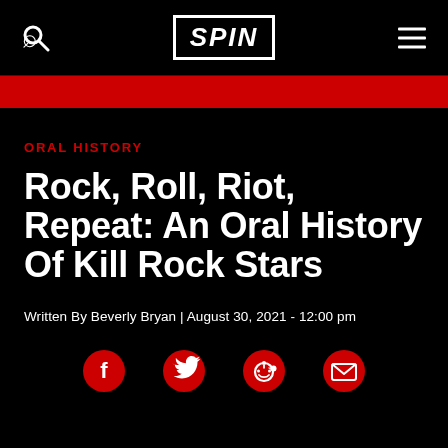SPIN
ORAL HISTORY
Rock, Roll, Riot, Repeat: An Oral History Of Kill Rock Stars
Written By Beverly Bryan | August 30, 2021  -  12:00 pm
[Figure (infographic): Social media share icons: Facebook, Twitter, Reddit, Email]